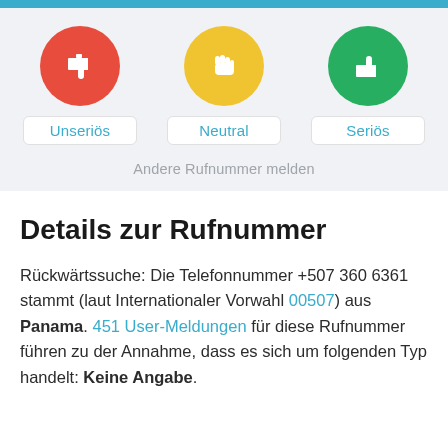[Figure (infographic): Three rating buttons with icons: red circle with thumbs down (Unseriös), yellow circle with neutral hand (Neutral), green circle with thumbs up (Seriös)]
Andere Rufnummer melden
Details zur Rufnummer
Rückwärtssuche: Die Telefonnummer +507 360 6361 stammt (laut Internationaler Vorwahl 00507) aus Panama. 451 User-Meldungen für diese Rufnummer führen zu der Annahme, dass es sich um folgenden Typ handelt: Keine Angabe.